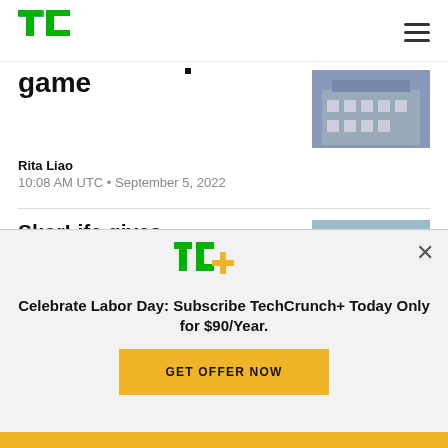TechCrunch
game
Rita Liao
10:08 AM UTC • September 5, 2022
[Figure (photo): Building exterior photo thumbnail]
SkorLife gives control of credit data back to Indonesian consumers
[Figure (photo): Woman holding phone outdoors thumbnail]
[Figure (logo): TechCrunch+ logo (TC+)]
Celebrate Labor Day: Subscribe TechCrunch+ Today Only for $90/Year.
GET OFFER NOW